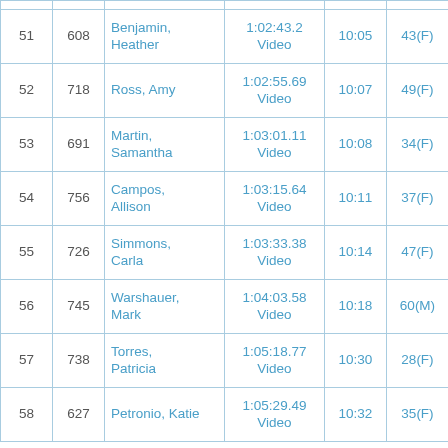| Place | Bib | Name | Time | Gun Time | Age Group |
| --- | --- | --- | --- | --- | --- |
| 51 | 608 | Benjamin, Heather | 1:02:43.2
Video | 10:05 | 43(F) |
| 52 | 718 | Ross, Amy | 1:02:55.69
Video | 10:07 | 49(F) |
| 53 | 691 | Martin, Samantha | 1:03:01.11
Video | 10:08 | 34(F) |
| 54 | 756 | Campos, Allison | 1:03:15.64
Video | 10:11 | 37(F) |
| 55 | 726 | Simmons, Carla | 1:03:33.38
Video | 10:14 | 47(F) |
| 56 | 745 | Warshauer, Mark | 1:04:03.58
Video | 10:18 | 60(M) |
| 57 | 738 | Torres, Patricia | 1:05:18.77
Video | 10:30 | 28(F) |
| 58 | 627 | Petronio, Katie | 1:05:29.49
Video | 10:32 | 35(F) |